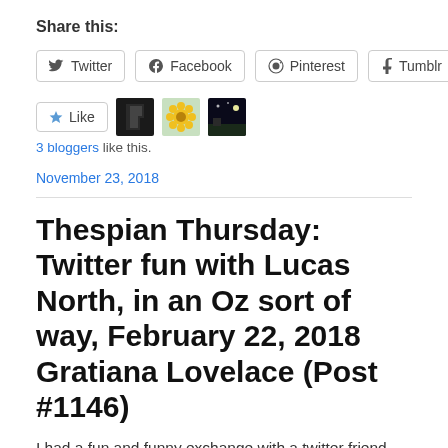Share this:
[Figure (other): Social share buttons: Twitter, Facebook, Pinterest, Tumblr]
[Figure (other): Like button and 3 blogger avatars]
3 bloggers like this.
November 23, 2018
Thespian Thursday:  Twitter fun with Lucas North, in an Oz sort of way, February 22, 2018 Gratiana Lovelace (Post #1146)
I had a fun and funny exchange with a twitter friend named @Kim_AussieGirl last night about the Spooks 9 plot twist